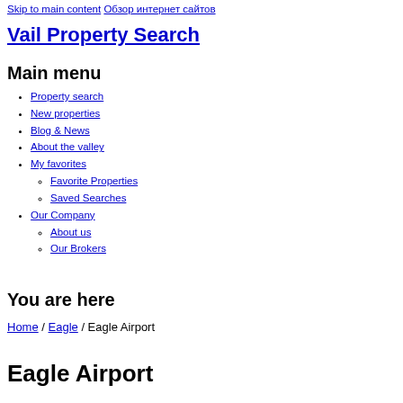Skip to main content Обзор интернет сайтов
Vail Property Search
Main menu
Property search
New properties
Blog & News
About the valley
My favorites
Favorite Properties
Saved Searches
Our Company
About us
Our Brokers
You are here
Home / Eagle / Eagle Airport
Eagle Airport